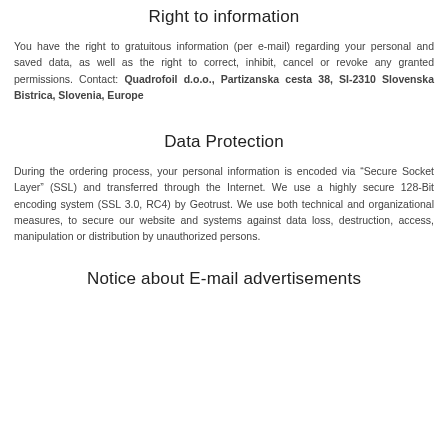Right to information
You have the right to gratuitous information (per e-mail) regarding your personal and saved data, as well as the right to correct, inhibit, cancel or revoke any granted permissions. Contact: Quadrofoil d.o.o., Partizanska cesta 38, SI-2310 Slovenska Bistrica, Slovenia, Europe
Data Protection
During the ordering process, your personal information is encoded via “Secure Socket Layer” (SSL) and transferred through the Internet. We use a highly secure 128-Bit encoding system (SSL 3.0, RC4) by Geotrust. We use both technical and organizational measures, to secure our website and systems against data loss, destruction, access, manipulation or distribution by unauthorized persons.
Notice about E-mail advertisements